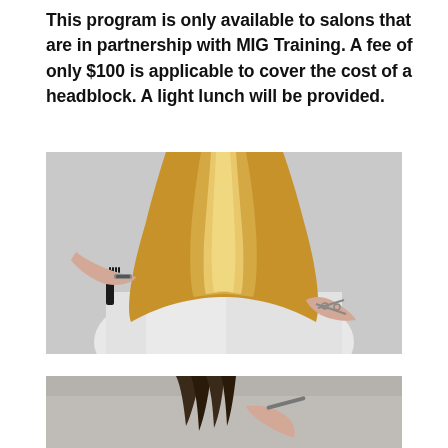This program is only available to salons that are in partnership with MIG Training. A fee of only $100 is applicable to cover the cost of a headblock. A light lunch will be provided.
[Figure (photo): A hairstylist cutting long straight blonde ombre hair of a client seen from behind, draped in a white salon cape. Two hands are visible: one holding a dark comb and another holding scissors near the ends of the hair. The background is light grey.]
[Figure (photo): Bottom portion of a second hair-related salon photo, partially visible, showing dark hair being worked on with tools on a light grey background.]